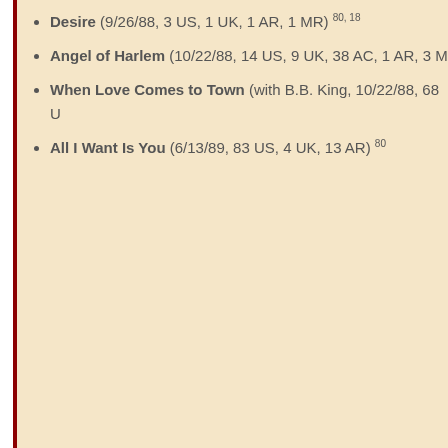Desire (9/26/88, 3 US, 1 UK, 1 AR, 1 MR) 80, 18
Angel of Harlem (10/22/88, 14 US, 9 UK, 38 AC, 1 AR, 3 M…
When Love Comes to Town (with B.B. King, 10/22/88, 68 U…
All I Want Is You (6/13/89, 83 US, 4 UK, 13 AR) 80